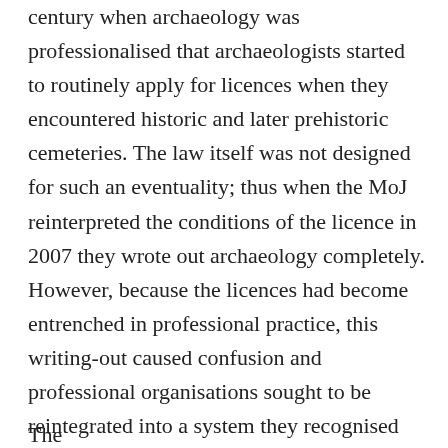century when archaeology was professionalised that archaeologists started to routinely apply for licences when they encountered historic and later prehistoric cemeteries. The law itself was not designed for such an eventuality; thus when the MoJ reinterpreted the conditions of the licence in 2007 they wrote out archaeology completely. However, because the licences had become entrenched in professional practice, this writing-out caused confusion and professional organisations sought to be reintegrated into a system they recognised (Sayer, 2010a). As Parker Pearson et al indicate, the MoJ sought legal guidance to help interpret the law and this advice concluded that all human remains of any antiquity should be reburied within two months. The first relaxation of the rules by MoJ officials was to extend that to two years to allow scientific enquiry.
The...